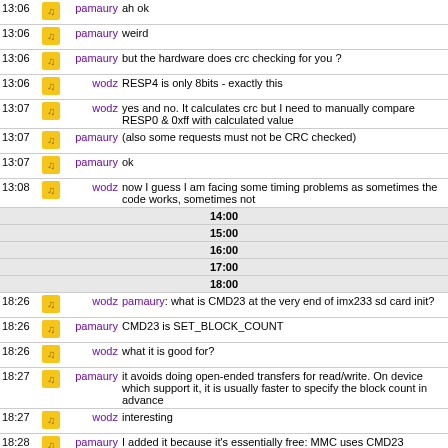| Time |  | Nick | Message |
| --- | --- | --- | --- |
| 13:06 |  | pamaury | ah ok |
| 13:06 |  | pamaury | weird |
| 13:06 |  | pamaury | but the hardware does crc checking for you ? |
| 13:06 |  | wodz | RESP4 is only 8bits - exactly this |
| 13:07 |  | wodz | yes and no. It calculates crc but I need to manually compare RESP0 & 0xff with calculated value |
| 13:07 |  | pamaury | (also some requests must not be CRC checked) |
| 13:07 |  | pamaury | ok |
| 13:08 |  | wodz | now I guess I am facing some timing problems as sometimes the code works, sometimes not |
|  |  |  | 14:00 |
|  |  |  | 15:00 |
|  |  |  | 16:00 |
|  |  |  | 17:00 |
|  |  |  | 18:00 |
| 18:26 |  | wodz | pamaury: what is CMD23 at the very end of imx233 sd card init? |
| 18:26 |  | pamaury | CMD23 is SET_BLOCK_COUNT |
| 18:26 |  | wodz | what it is good for? |
| 18:27 |  | pamaury | it avoids doing open-ended transfers for read/write. On device which support it, it is usually faster to specify the block count in advance |
| 18:27 |  | wodz | interesting |
| 18:28 |  | pamaury | I added it because it's essentially free: MMC uses CMD23 anyway, it's mandatory, so on SD it's only a matter of probing |